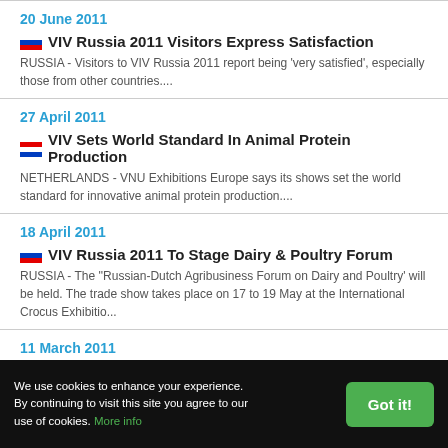20 June 2011
VIV Russia 2011 Visitors Express Satisfaction
RUSSIA - Visitors to VIV Russia 2011 report being 'very satisfied', especially those from other countries....
27 April 2011
VIV Sets World Standard In Animal Protein Production
NETHERLANDS - VNU Exhibitions Europe says its shows set the world standard for innovative animal protein production....
18 April 2011
VIV Russia 2011 To Stage Dairy & Poultry Forum
RUSSIA - The ''Russian-Dutch Agribusiness Forum on Dairy and Poultry' will be held. The trade show takes place on 17 to 19 May at the International Crocus Exhibitio...
11 March 2011
We use cookies to enhance your experience. By continuing to visit this site you agree to our use of cookies. More info